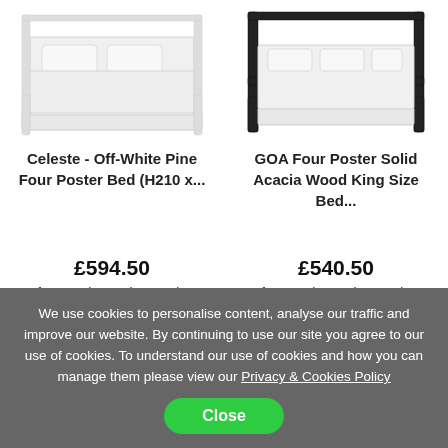[Figure (photo): Celeste Off-White Pine Four Poster Bed product image, light/white colored bed with four posts]
[Figure (photo): GOA Four Poster Solid Acacia Wood King Size Bed product image, dark/black colored bed frame with four posts]
Celeste - Off-White Pine Four Poster Bed (H210 x...
GOA Four Poster Solid Acacia Wood King Size Bed...
£594.50
from Maisons du Monde
£540.50
from Maisons du Monde
6
MORE INFO
3
MORE INFO
We use cookies to personalise content, analyse our traffic and improve our website. By continuing to use our site you agree to our use of cookies. To understand our use of cookies and how you can manage them please view our Privacy & Cookies Policy
Close